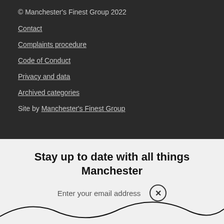© Manchester's Finest Group 2022
Contact
Complaints procedure
Code of Conduct
Privacy and data
Archived categories
Site by Manchester's Finest Group
Stay up to date with all things Manchester
Enter your email address